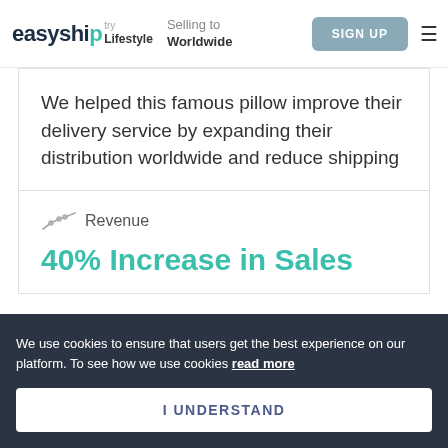easyship | STARTER | Selling to | Lifestyle | Worldwide | SIGN UP
We helped this famous pillow improve their delivery service by expanding their distribution worldwide and reduce shipping
Revenue
40% Increase in Sales
We use cookies to ensure that users get the best experience on our platform. To see how we use cookies read more
I UNDERSTAND